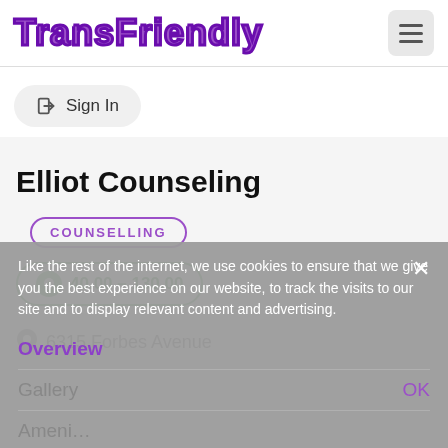TransFriendly
Sign In
Elliot Counseling
COUNSELLING
40.00 - 130.00
6315 Forbes Avenue
Like the rest of the internet, we use cookies to ensure that we give you the best experience on our website, to track the visits to our site and to display relevant content and advertising.
Overview
Gallery
OK